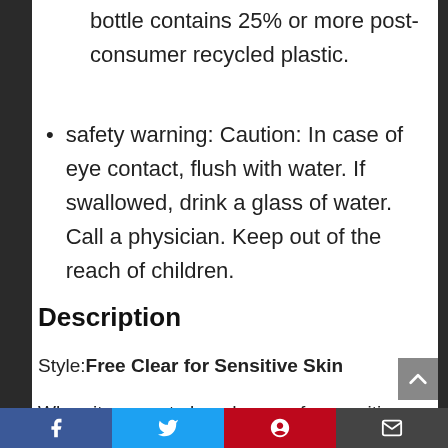bottle contains 25% or more post-consumer recycled plastic.
safety warning: Caution: In case of eye contact, flush with water. If swallowed, drink a glass of water. Call a physician. Keep out of the reach of children.
Description
Style: Free Clear for Sensitive Skin
When it comes to laundry care for sensitive